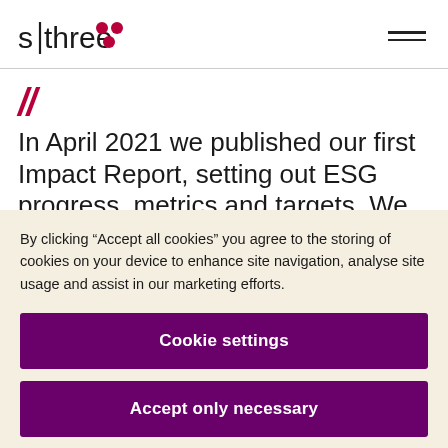s|three [logo]
In April 2021 we published our first Impact Report, setting out ESG progress, metrics and targets. We are
By clicking “Accept all cookies” you agree to the storing of cookies on your device to enhance site navigation, analyse site usage and assist in our marketing efforts.
Cookie settings
Accept only necessary